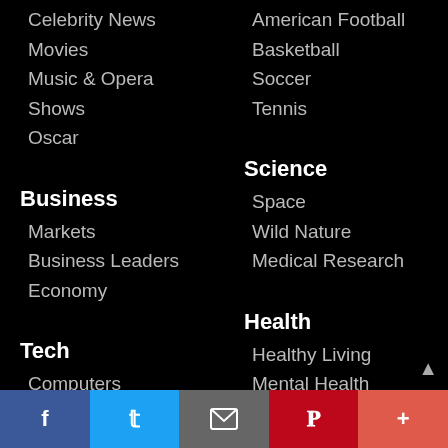Celebrity News
Movies
Music & Opera
Shows
Oscar
American Football
Basketball
Soccer
Tennis
Business
Markets
Business Leaders
Economy
Science
Space
Wild Nature
Medical Research
Tech
Computers
Video Games
Social Media
Health
Healthy Living
Mental Health
Cancer
Nutrition & Fitness
Children's Health